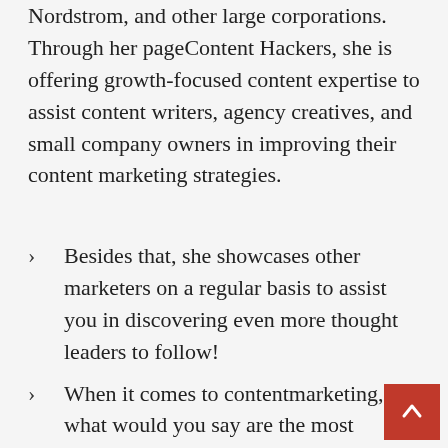Nordstrom, and other large corporations. Through her pageContent Hackers, she is offering growth-focused content expertise to assist content writers, agency creatives, and small company owners in improving their content marketing strategies.
Besides that, she showcases other marketers on a regular basis to assist you in discovering even more thought leaders to follow!
When it comes to contentmarketing, what would you say are the most important talents to have if you want to be paid or hired?
Yes, absolutely.
For more than one of the...